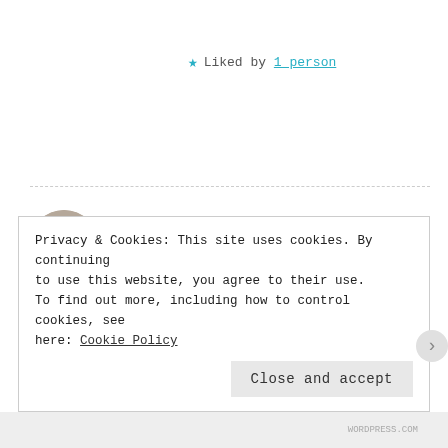★ Liked by 1 person
The Cozy Potato says:
JULY 12, 2020 AT 9:06 AM
Honestly so true!
★ Liked by 1 person
Privacy & Cookies: This site uses cookies. By continuing to use this website, you agree to their use.
To find out more, including how to control cookies, see here: Cookie Policy
Close and accept